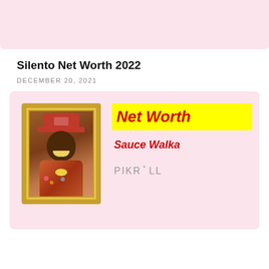[Figure (illustration): Top card with pink background partially visible at top of page]
Silento Net Worth 2022
DECEMBER 20, 2021
[Figure (infographic): Pink card with ornate gold-framed portrait of person in red hat on the left, yellow Net Worth badge and red italic text Sauce Walka on the right, PIKROLL logo at bottom right]